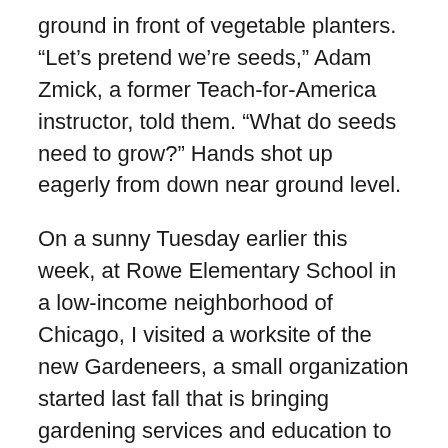ground in front of vegetable planters. “Let’s pretend we’re seeds,” Adam Zmick, a former Teach-for-America instructor, told them. “What do seeds need to grow?” Hands shot up eagerly from down near ground level.
On a sunny Tuesday earlier this week, at Rowe Elementary School in a low-income neighborhood of Chicago, I visited a worksite of the new Gardeneers, a small organization started last fall that is bringing gardening services and education to public schools in the Chicago area. The group was founded by Adam and May Tsupros, and has already enrolled five schools. Four of their five locations have 90 percent or higher levels of subsidized lunches.
The conversation that day between the Gardeneers and the students included how to plant seeds and water them.